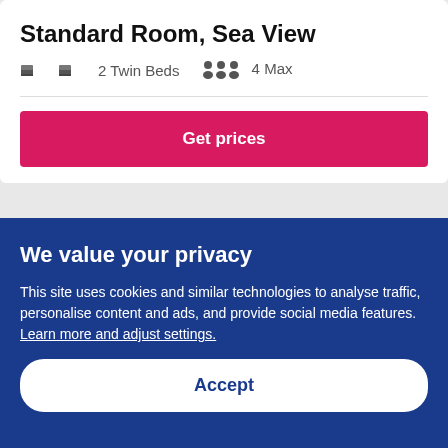Standard Room, Sea View
2 Twin Beds   4 Max
Get prices
Standard Double Room, Hill View
We value your privacy
This site uses cookies and similar technologies to analyse traffic, personalise content and ads, and provide social media features. Learn more and adjust settings.
Accept